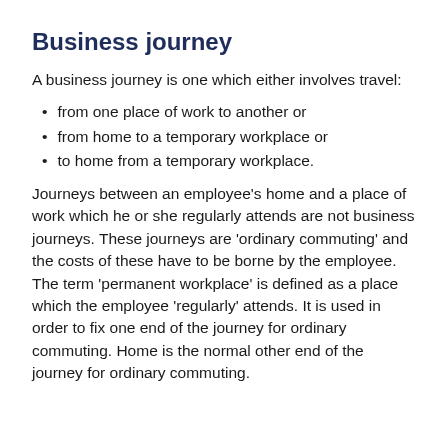Business journey
A business journey is one which either involves travel:
from one place of work to another or
from home to a temporary workplace or
to home from a temporary workplace.
Journeys between an employee's home and a place of work which he or she regularly attends are not business journeys. These journeys are 'ordinary commuting' and the costs of these have to be borne by the employee. The term 'permanent workplace' is defined as a place which the employee 'regularly' attends. It is used in order to fix one end of the journey for ordinary commuting. Home is the normal other end of the journey for ordinary commuting.